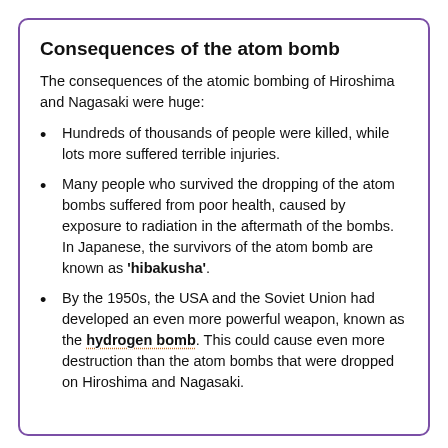Consequences of the atom bomb
The consequences of the atomic bombing of Hiroshima and Nagasaki were huge:
Hundreds of thousands of people were killed, while lots more suffered terrible injuries.
Many people who survived the dropping of the atom bombs suffered from poor health, caused by exposure to radiation in the aftermath of the bombs. In Japanese, the survivors of the atom bomb are known as 'hibakusha'.
By the 1950s, the USA and the Soviet Union had developed an even more powerful weapon, known as the hydrogen bomb. This could cause even more destruction than the atom bombs that were dropped on Hiroshima and Nagasaki.